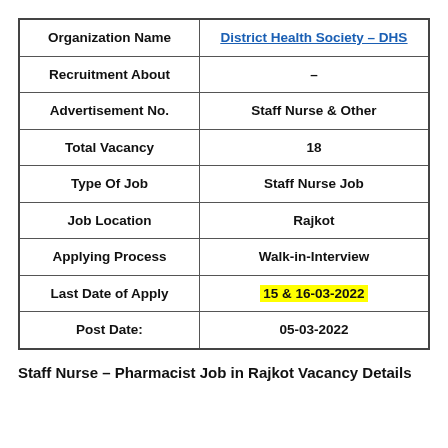| Organization Name | District Health Society – DHS |
| --- | --- |
| Recruitment About | – |
| Advertisement No. | Staff Nurse  & Other |
| Total Vacancy | 18 |
| Type Of Job | Staff Nurse Job |
| Job Location | Rajkot |
| Applying Process | Walk-in-Interview |
| Last Date of Apply | 15 & 16-03-2022 |
| Post Date: | 05-03-2022 |
Staff Nurse – Pharmacist Job in Rajkot Vacancy Details